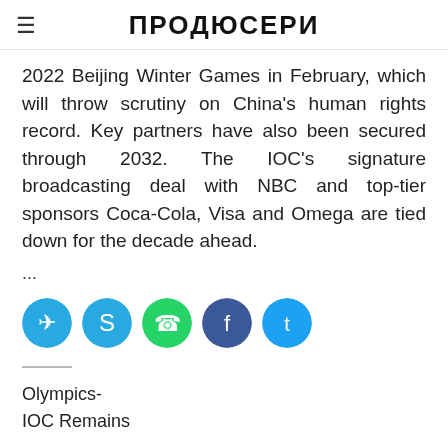ПРОДЮСЕРИ
2022 Beijing Winter Games in February, which will throw scrutiny on China's human rights record. Key partners have also been secured through 2032. The IOC's signature broadcasting deal with NBC and top-tier sponsors Coca-Cola, Visa and Omega are tied down for the decade ahead.
...
[Figure (infographic): Row of five social media share buttons: Telegram (blue), Skype (blue), WhatsApp (green), Facebook (blue), Twitter (blue)]
Olympics-
IOC Remains